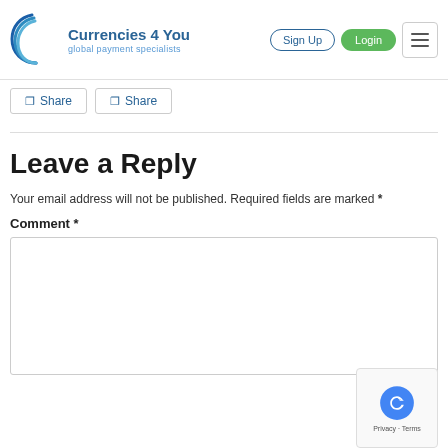Currencies 4 You - global payment specialists
Share  Share
Leave a Reply
Your email address will not be published. Required fields are marked *
Comment *
[Figure (screenshot): reCAPTCHA Privacy Terms badge]